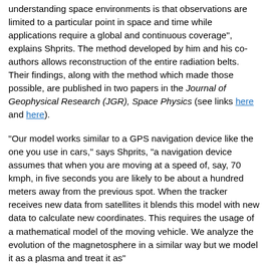understanding space environments is that observations are limited to a particular point in space and time while applications require a global and continuous coverage", explains Shprits. The method developed by him and his co-authors allows reconstruction of the entire radiation belts. Their findings, along with the method which made those possible, are published in two papers in the Journal of Geophysical Research (JGR), Space Physics (see links here and here).
"Our model works similar to a GPS navigation device like the one you use in cars," says Shprits, "a navigation device assumes that when you are moving at a speed of, say, 70 kmph, in five seconds you are likely to be about a hundred meters away from the previous spot. When the tracker receives new data from satellites it blends this model with new data to calculate new coordinates. This requires the usage of a mathematical model of the moving vehicle. We analyze the evolution of the magnetosphere in a similar way but we model it as a plasma and treat it as"